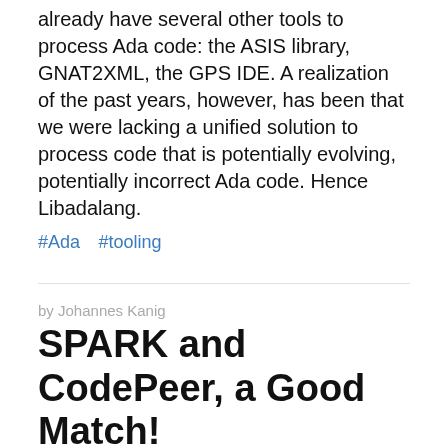already have several other tools to process Ada code: the ASIS library, GNAT2XML, the GPS IDE. A realization of the past years, however, has been that we were lacking a unified solution to process code that is potentially evolving, potentially incorrect Ada code. Hence Libadalang.
#Ada #tooling
by Johannes Kanig
SPARK and CodePeer, a Good Match!
It turns out that the CodePeer engine can be used as a powerful prover for SPARK programs. This feature will be available in the next version of SPARK Pro, make sure you try it out!